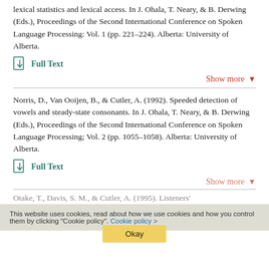lexical statistics and lexical access. In J. Ohala, T. Neary, & B. Derwing (Eds.), Proceedings of the Second International Conference on Spoken Language Processing: Vol. 1 (pp. 221–224). Alberta: University of Alberta.
Full Text
Show more
Norris, D., Van Ooijen, B., & Cutler, A. (1992). Speeded detection of vowels and steady-state consonants. In J. Ohala, T. Neary, & B. Derwing (Eds.), Proceedings of the Second International Conference on Spoken Language Processing; Vol. 2 (pp. 1055–1058). Alberta: University of Alberta.
Full Text
Show more
Otake, T., Davis, S. M., & Cutler, A. (1995). Listeners'
This website uses cookies, read about how we use cookies and how you control them by clicking "Cookie policy". Cookie policy >
Okay